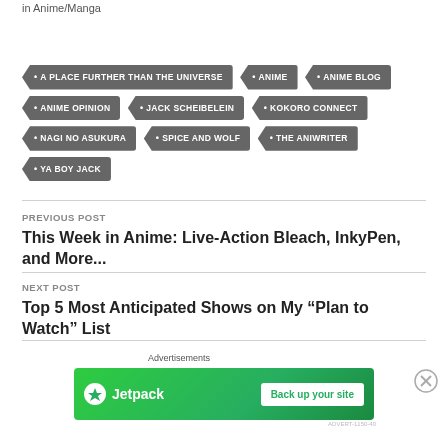in  Anime/Manga
• A PLACE FURTHER THAN THE UNIVERSE
• ANIME
• ANIME BLOG
• ANIME OPINION
• JACK SCHEIBELEIN
• KOKORO CONNECT
• NAGI NO ASUKURA
• SPICE AND WOLF
• THE ANIWRITER
• YA BOY JACK
PREVIOUS POST
This Week in Anime: Live-Action Bleach, InkyPen, and More...
NEXT POST
Top 5 Most Anticipated Shows on My “Plan to Watch” List
Advertisements
[Figure (other): Jetpack advertisement banner with 'Back up your site' button]